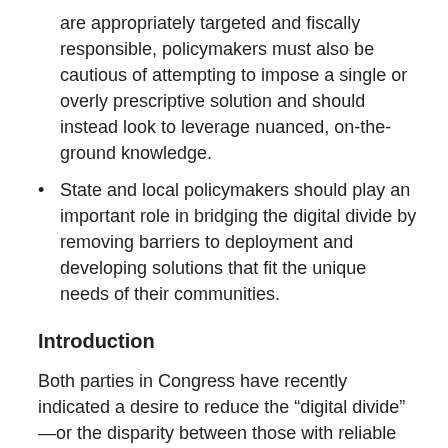are appropriately targeted and fiscally responsible, policymakers must also be cautious of attempting to impose a single or overly prescriptive solution and should instead look to leverage nuanced, on-the-ground knowledge.
State and local policymakers should play an important role in bridging the digital divide by removing barriers to deployment and developing solutions that fit the unique needs of their communities.
Introduction
Both parties in Congress have recently indicated a desire to reduce the “digital divide” —or the disparity between those with reliable internet access and those without it. House Republicans